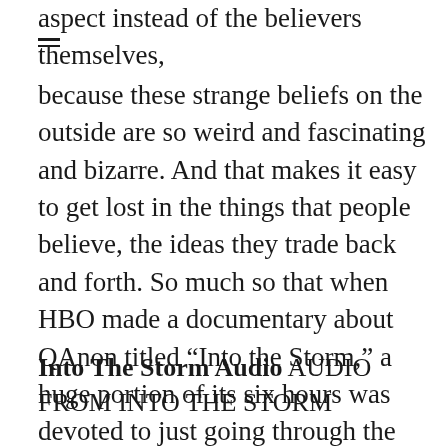aspect instead of the believers themselves, because these strange beliefs on the outside are so weird and fascinating and bizarre. And that makes it easy to get lost in the things that people believe, the ideas they trade back and forth. So much so that when HBO made a documentary about QAnon titled “Into the Storm,” a huge portion of its six hours was devoted to just going through the hundreds of interlocking beliefs and suppositions that QAnon believers had gameified into this multidimensional online puzzle that was fun to play and easy to get lost within
Into The Storm Audio AUDIO FROM INTO THE STORM